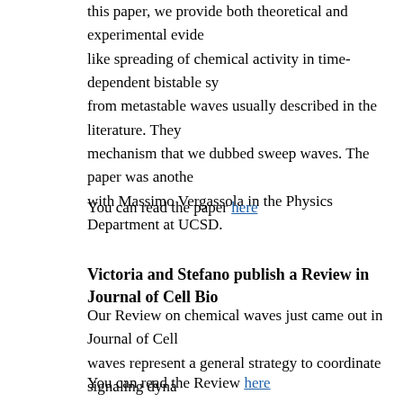this paper, we provide both theoretical and experimental evide... like spreading of chemical activity in time-dependent bistable s... from metastable waves usually described in the literature. They... mechanism that we dubbed sweep waves. The paper was anothe... with Massimo Vergassola in the Physics Department at UCSD.
You can read the paper here
Victoria and Stefano publish a Review in Journal of Cell Bio...
Our Review on chemical waves just came out in Journal of Cell... waves represent a general strategy to coordinate signaling dyna... looking forward to seeing more examples of chemical waves be...
You can read the Review here
Victoria wins a travel award from the Journal of Developme...
Congratulations to Victoria for winning a travel award from the...